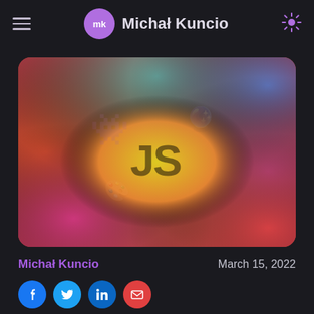mk  Michał Kuncio
[Figure (illustration): Colorful gradient card with rainbow hues (orange, magenta, yellow, green, teal, blue, purple, red) and a dark 'JS' text logo in the center on a yellow blob, with faint emoji/icon watermarks in the background.]
Michał Kuncio    March 15, 2022
[Figure (other): Row of social media icon buttons: Facebook (blue), Twitter (cyan), LinkedIn (blue), Email/envelope (red), partially visible at bottom of page.]